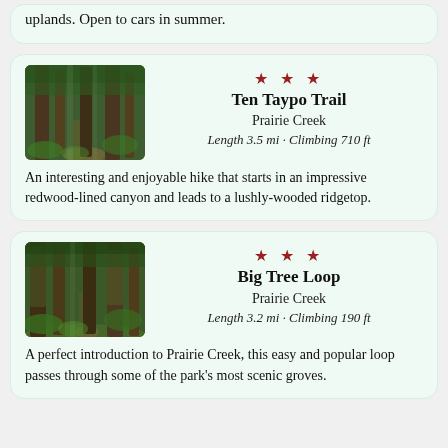uplands. Open to cars in summer.
[Figure (photo): Tall redwood trees with ferns and a path through a forest]
Ten Taypo Trail
Prairie Creek
Length 3.5 mi · Climbing 710 ft
An interesting and enjoyable hike that starts in an impressive redwood-lined canyon and leads to a lushly-wooded ridgetop.
[Figure (photo): Mossy trees and a path winding through a dense redwood forest]
Big Tree Loop
Prairie Creek
Length 3.2 mi · Climbing 190 ft
A perfect introduction to Prairie Creek, this easy and popular loop passes through some of the park's most scenic groves.